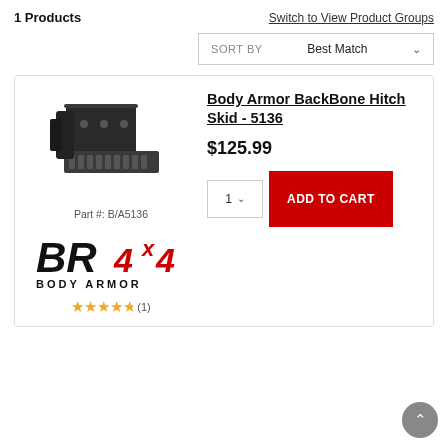1 Products
Switch to View Product Groups
SORT BY   Best Match
Body Armor BackBone Hitch Skid - 5136
$125.99
ADD TO CART
Part #: B/A5136
[Figure (logo): Body Armor 4x4 brand logo with BR4x4 stylized text and BODY ARMOR subtitle]
★★★★½ (1)